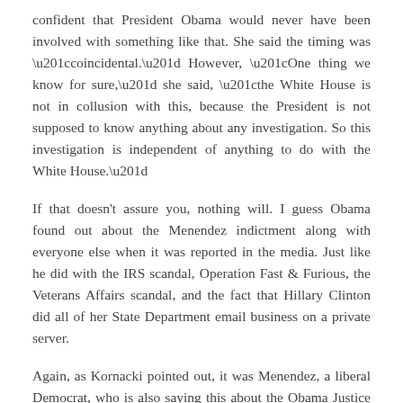confident that President Obama would never have been involved with something like that. She said the timing was “coincidental.” However, “One thing we know for sure,” she said, “the White House is not in collusion with this, because the President is not supposed to know anything about any investigation. So this investigation is independent of anything to do with the White House.”
If that doesn’t assure you, nothing will. I guess Obama found out about the Menendez indictment along with everyone else when it was reported in the media. Just like he did with the IRS scandal, Operation Fast & Furious, the Veterans Affairs scandal, and the fact that Hillary Clinton did all of her State Department email business on a private server.
Again, as Kornacki pointed out, it was Menendez, a liberal Democrat, who is also saying this about the Obama Justice Department. Actually, Menendez has crossed the President on more than just Iran. There are also his criticisms of Obama’s policies toward Cuba, North Korea and Menendez’s strong support for Israel that may have been the final straws for